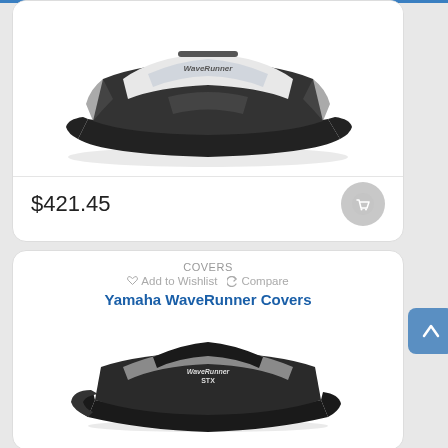[Figure (photo): Top product card showing a Yamaha WaveRunner personal watercraft cover, white/grey and black, displayed from side angle. Price shown: $421.45 with a cart button.]
$421.45
[Figure (photo): Bottom product card showing another Yamaha WaveRunner cover, black with grey trim and WaveRunner STX branding, shown from a front-side angle. Card header shows COVERS category, Add to Wishlist and Compare links, and blue bold title 'Yamaha WaveRunner Covers'.]
COVERS
♡ Add to Wishlist  ↺ Compare
Yamaha WaveRunner Covers